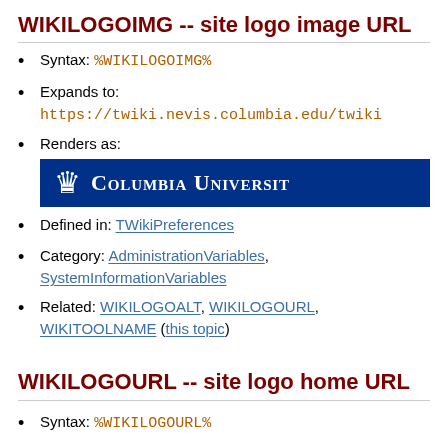WIKILOGOIMG -- site logo image URL
Syntax: %WIKILOGOIMG%
Expands to: https://twiki.nevis.columbia.edu/twiki...
Renders as: [Columbia University logo banner]
Defined in: TWikiPreferences
Category: AdministrationVariables, SystemInformationVariables
Related: WIKILOGOALT, WIKILOGOURL, WIKITOOLNAME (this topic)
WIKILOGOURL -- site logo home URL
Syntax: %WIKILOGOURL%